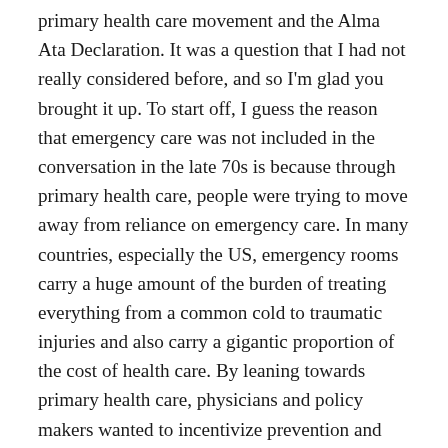primary health care movement and the Alma Ata Declaration. It was a question that I had not really considered before, and so I'm glad you brought it up. To start off, I guess the reason that emergency care was not included in the conversation in the late 70s is because through primary health care, people were trying to move away from reliance on emergency care. In many countries, especially the US, emergency rooms carry a huge amount of the burden of treating everything from a common cold to traumatic injuries and also carry a gigantic proportion of the cost of health care. By leaning towards primary health care, physicians and policy makers wanted to incentivize prevention and early treatment, rather than waiting until a disease or injury was at a place that required a trip to the emergency room. As far as we can push care towards primary care physicians, there will of course always be a need for emergency care–so much of what we deal with in terms of health issues are conditions that could possibly never have been prevented, but